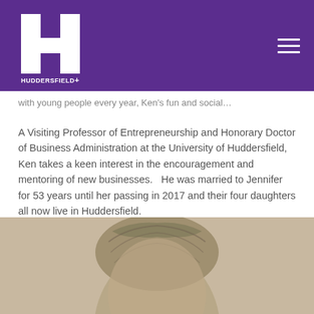Huddersfield+ logo and navigation
…with young people every year, Ken's fun and social…
A Visiting Professor of Entrepreneurship and Honorary Doctor of Business Administration at the University of Huddersfield, Ken takes a keen interest in the encouragement and mentoring of new businesses.   He was married to Jennifer for 53 years until her passing in 2017 and their four daughters all now live in Huddersfield.
[Figure (photo): Black and white portrait photo of a person, showing top of head with light hair, cropped at bottom of page]